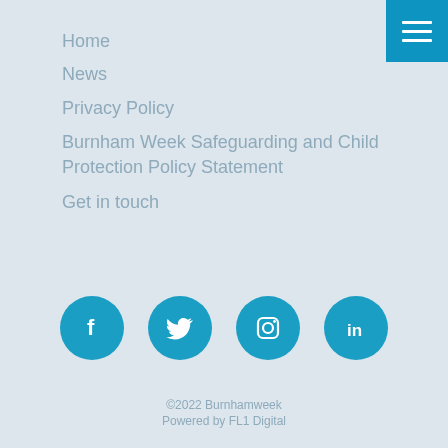Home
News
Privacy Policy
Burnham Week Safeguarding and Child Protection Policy Statement
Get in touch
[Figure (infographic): Four social media icons in blue circles: Facebook (f), Twitter (bird), Instagram (camera), LinkedIn (in)]
©2022 Burnhamweek
Powered by FL1 Digital